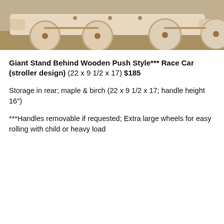[Figure (photo): Photo of a wooden push toy race car with large round wheels, natural maple and birch wood, viewed from the front/side showing wheels and axles against a neutral background.]
Giant Stand Behind Wooden Push Style*** Race Car (stroller design) (22 x 9 1/2 x 17) $185
Storage in rear; maple & birch (22 x 9 1/2 x 17; handle height 16")
***Handles removable if requested; Extra large wheels for easy rolling with child or heavy load